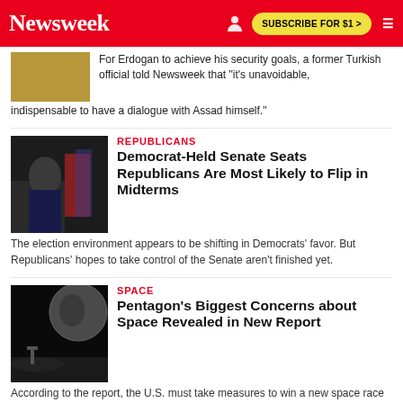Newsweek | SUBSCRIBE FOR $1 >
For Erdogan to achieve his security goals, a former Turkish official told Newsweek that "it's unavoidable, indispensable to have a dialogue with Assad himself."
REPUBLICANS
Democrat-Held Senate Seats Republicans Are Most Likely to Flip in Midterms
The election environment appears to be shifting in Democrats' favor. But Republicans' hopes to take control of the Senate aren't finished yet.
SPACE
Pentagon's Biggest Concerns about Space Revealed in New Report
According to the report, the U.S. must take measures to win a new space race with China, both back to the Moon and eventually to Mars.
CHOOSE YOUR SUBSCRIPTION